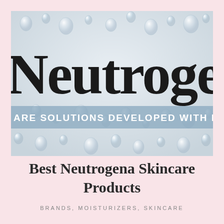[Figure (photo): Neutrogena brand photo showing water droplets on a surface with the Neutrogena logo in large bold serif text and a blue-grey banner reading 'ARE SOLUTIONS DEVELOPED WITH DERMATOLOG']
Best Neutrogena Skincare Products
BRANDS, MOISTURIZERS, SKINCARE